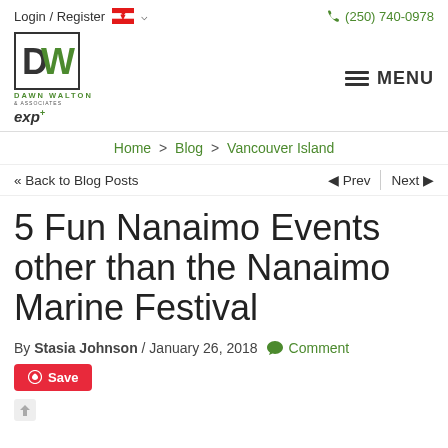Login / Register  (250) 740-0978
[Figure (logo): Dawn Walton & Associates eXp Realty logo with DW monogram in green and dark box]
Home > Blog > Vancouver Island
<< Back to Blog Posts   Prev  Next
5 Fun Nanaimo Events other than the Nanaimo Marine Festival
By Stasia Johnson / January 26, 2018  Comment
Save